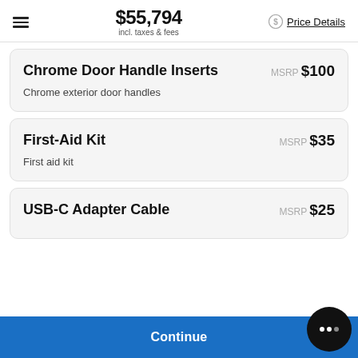$55,794 incl. taxes & fees Price Details
Chrome Door Handle Inserts
MSRP $100
Chrome exterior door handles
First-Aid Kit
MSRP $35
First aid kit
USB-C Adapter Cable
MSRP $25
Continue